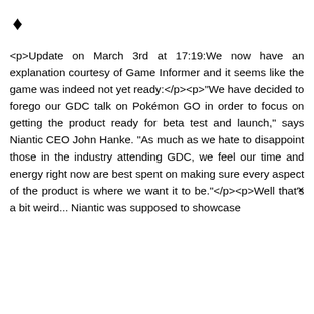[Figure (other): Diamond/rhombus question mark icon]
<p>Update on March 3rd at 17:19:We now have an explanation courtesy of Game Informer and it seems like the game was indeed not yet ready:</p><p>"We have decided to forego our GDC talk on Pokémon GO in order to focus on getting the product ready for beta test and launch," says Niantic CEO John Hanke. "As much as we hate to disappoint those in the industry attending GDC, we feel our time and energy right now are best spent on making sure every aspect of the product is where we want it to be."</p><p>Well that's a bit weird... Niantic was supposed to showcase